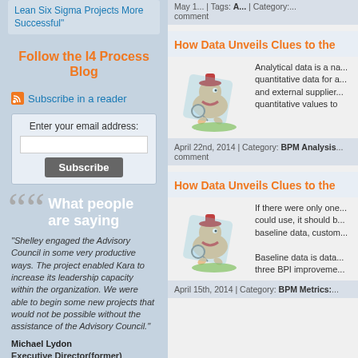Lean Six Sigma Projects More Successful"
Follow the I4 Process Blog
Subscribe in a reader
Enter your email address:
What people are saying
"Shelley engaged the Advisory Council in some very productive ways. The project enabled Kara to increase its leadership capacity within the organization. We were able to begin some new projects that would not be possible without the assistance of the Advisory Council."
Michael Lydon
Executive Director(former)
comment
How Data Unveils Clues to the
Analytical data is a na... quantitative data for a... and external supplier... quantitative values to
April 22nd, 2014 | Category: BPM Analysis... comment
How Data Unveils Clues to the
If there were only one... could use, it should b... baseline data, custom...
Baseline data is data... three BPI improveme...
April 15th, 2014 | Category: BPM Metrics:...